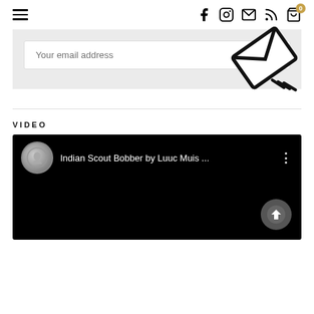Navigation bar with hamburger menu, social icons (Facebook, Instagram, Email, RSS), and cart icon with badge 0
[Figure (screenshot): Email subscription input field with placeholder 'Your email address' and an envelope icon graphic on gray background]
VIDEO
[Figure (screenshot): YouTube video embed showing 'Indian Scout Bobber by Luuc Muis ...' with channel icon, three-dot menu, and an upload/scroll button on black background]